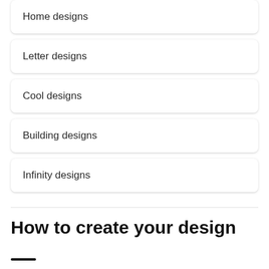Home designs
Letter designs
Cool designs
Building designs
Infinity designs
How to create your design